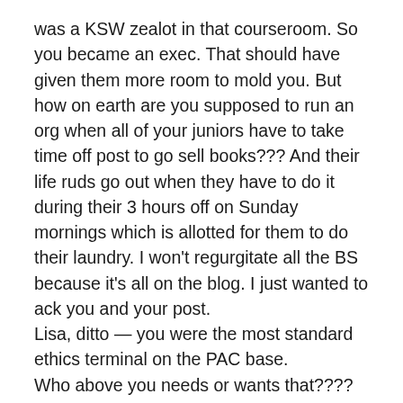was a KSW zealot in that courseroom. So you became an exec. That should have given them more room to mold you. But how on earth are you supposed to run an org when all of your juniors have to take time off post to go sell books??? And their life ruds go out when they have to do it during their 3 hours off on Sunday mornings which is allotted for them to do their laundry. I won't regurgitate all the BS because it's all on the blog. I just wanted to ack you and your post.
Lisa, ditto — you were the most standard ethics terminal on the PAC base.
Who above you needs or wants that???? You are just in the way of their brand of ethics and justice.